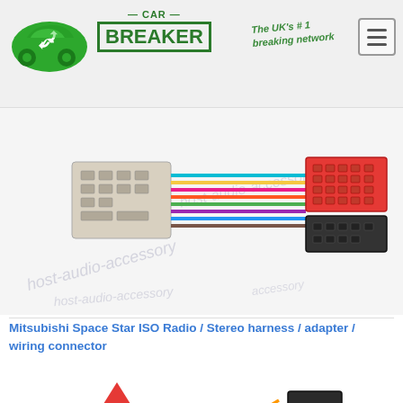[Figure (logo): Car Breaker website header with green car recycling logo, 'CAR BREAKER' text in green, tagline 'The UK's #1 breaking network', and hamburger menu button]
[Figure (photo): ISO radio wiring harness adapter showing a beige multi-pin connector on left connected via colored wires to red and black ISO connectors on right, with watermark text 'host-audio-accessory']
Mitsubishi Space Star ISO Radio / Stereo harness / adapter / wiring connector
[Figure (photo): Mitsubishi logo (three red diamond shapes) with 'MITSUBISHI' text below on left, and a black wiring harness connector with colored wires on right]